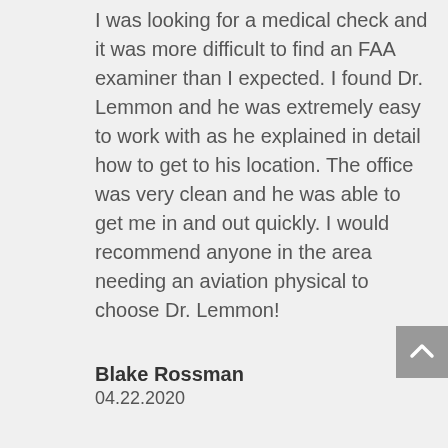I was looking for a medical check and it was more difficult to find an FAA examiner than I expected. I found Dr. Lemmon and he was extremely easy to work with as he explained in detail how to get to his location. The office was very clean and he was able to get me in and out quickly. I would recommend anyone in the area needing an aviation physical to choose Dr. Lemmon!
Blake Rossman
04.22.2020
[Figure (illustration): Orange circle with double closing quotation marks inside, used as a decorative quote icon]
I'm new to the area and when I was